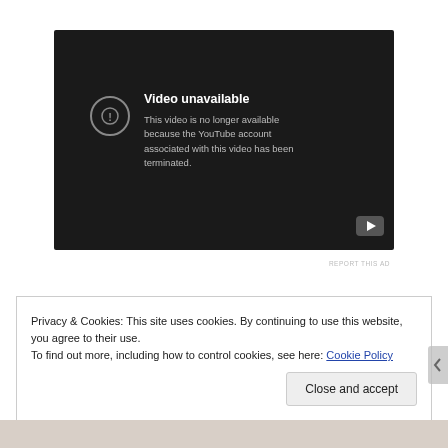[Figure (screenshot): YouTube video player showing 'Video unavailable' error message. Dark background with exclamation icon and text: 'Video unavailable. This video is no longer available because the YouTube account associated with this video has been terminated.' YouTube logo visible in bottom right corner.]
REPORT THIS AD
Privacy & Cookies: This site uses cookies. By continuing to use this website, you agree to their use.
To find out more, including how to control cookies, see here: Cookie Policy
Close and accept